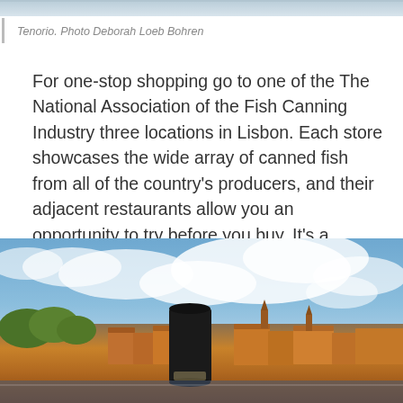[Figure (photo): Top portion of a photo, showing sky or background, partially cropped at the top of the page.]
Tenorio. Photo Deborah Loeb Bohren
For one-stop shopping go to one of the The National Association of the Fish Canning Industry three locations in Lisbon. Each store showcases the wide array of canned fish from all of the country’s producers, and their adjacent restaurants allow you an opportunity to try before you buy. It’s a deliciously colorful shopping diversion.
[Figure (photo): Photo of a cityscape, likely Porto or Lisbon, Portugal, showing orange-roofed buildings beneath a partly cloudy blue sky, with a dark cylindrical object in the foreground.]